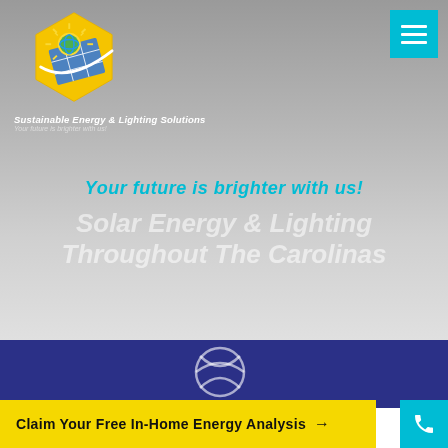[Figure (logo): Sustainable Energy & Lighting Solutions logo - hexagonal shape with sun and solar panel imagery in yellow and blue]
Sustainable Energy & Lighting Solutions
Your future is brighter with us!
Your future is brighter with us!
Solar Energy & Lighting Throughout The Carolinas
[Figure (illustration): Partial circular/volleyball-like icon outline in white on blue background]
Claim Your Free In-Home Energy Analysis →